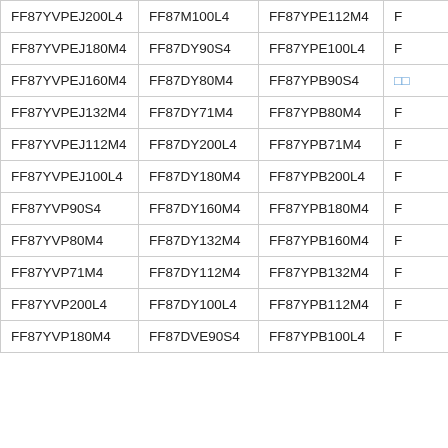| FF87YVPEJ200L4 | FF87M100L4 | FF87YPE112M4 | F… |
| FF87YVPEJ180M4 | FF87DY90S4 | FF87YPE100L4 | F… |
| FF87YVPEJ160M4 | FF87DY80M4 | FF87YPB90S4 | □□ |
| FF87YVPEJ132M4 | FF87DY71M4 | FF87YPB80M4 | F… |
| FF87YVPEJ112M4 | FF87DY200L4 | FF87YPB71M4 | F… |
| FF87YVPEJ100L4 | FF87DY180M4 | FF87YPB200L4 | F… |
| FF87YVP90S4 | FF87DY160M4 | FF87YPB180M4 | F… |
| FF87YVP80M4 | FF87DY132M4 | FF87YPB160M4 | F… |
| FF87YVP71M4 | FF87DY112M4 | FF87YPB132M4 | F… |
| FF87YVP200L4 | FF87DY100L4 | FF87YPB112M4 | F… |
| FF87YVP180M4 | FF87DVE90S4 | FF87YPB100L4 | F… |